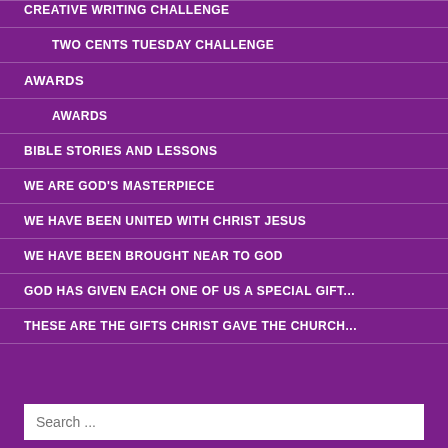CREATIVE WRITING CHALLENGE
TWO CENTS TUESDAY CHALLENGE
AWARDS
AWARDS
BIBLE STORIES AND LESSONS
WE ARE GOD'S MASTERPIECE
WE HAVE BEEN UNITED WITH CHRIST JESUS
WE HAVE BEEN BROUGHT NEAR TO GOD
GOD HAS GIVEN EACH ONE OF US A SPECIAL GIFT...
THESE ARE THE GIFTS CHRIST GAVE THE CHURCH...
Search ...